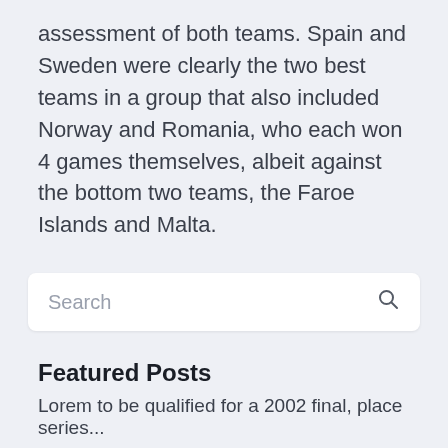assessment of both teams. Spain and Sweden were clearly the two best teams in a group that also included Norway and Romania, who each won 4 games themselves, albeit against the bottom two teams, the Faroe Islands and Malta.
Search
Featured Posts
Lorem to be qualified for a 2002 final, place series...